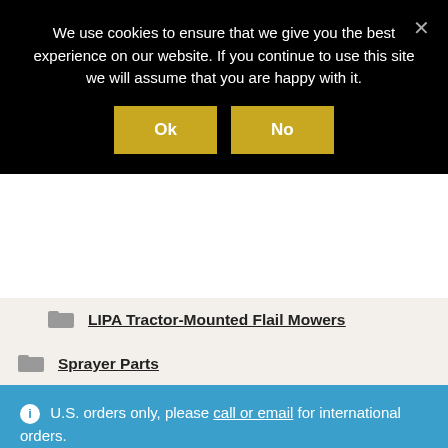We use cookies to ensure that we give you the best experience on our website. If you continue to use this site we will assume that you are happy with it.
Ok | No
LIPA Tractor-Mounted Flail Mowers
Sprayer Parts
Stream Bars For Uniform Liquid Nitrogen Application
Unclassified
U.S. orders only, please call or email for international orders.
Dismiss